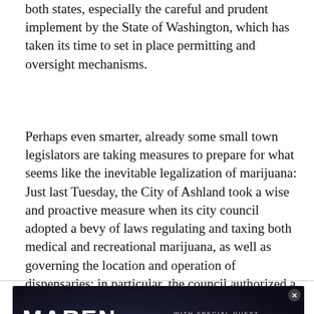both states, especially the careful and prudent implement by the State of Washington, which has taken its time to set in place permitting and oversight mechanisms.
Perhaps even smarter, already some small town legislators are taking measures to prepare for what seems like the inevitable legalization of marijuana: Just last Tuesday, the City of Ashland took a wise and proactive measure when its city council adopted a bevy of laws regulating and taxing both medical and recreational marijuana, as well as governing the location and operation of dispensaries; in particular, the council authorized a tax as much as 5 percent on medical marijuana, and a tax up to 10 percent on recreational marijuana sales. Specific tax rates will be set at future meetings.
[Figure (other): Advertisement for Maren Morris Humble Quest Tour with special guest Brittney Spencer, Friday Aug 26 at Hayden Homes Amphitheater, dark background with concert lighting effects, Live Nation logo]